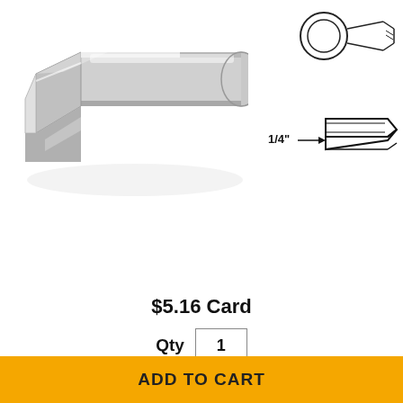[Figure (photo): Close-up photo of a silver metallic soldering iron chisel tip, flat angled face visible]
[Figure (illustration): Technical line drawing showing chisel tip profile from two angles with 1/4" measurement annotation]
[Figure (photo): Three thumbnail images: single tip and diagram side by side, packaged card blister pack, and group of five tips]
$5.16 Card
Qty 1
ADD TO CART